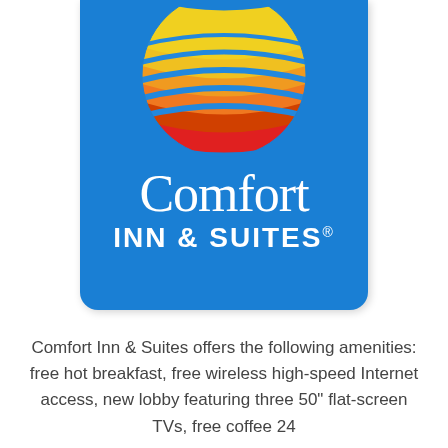[Figure (logo): Comfort Inn & Suites logo on blue background with colorful globe/sphere icon above the text]
Comfort Inn & Suites offers the following amenities: free hot breakfast, free wireless high-speed Internet access, new lobby featuring three 50" flat-screen TVs, free coffee 24